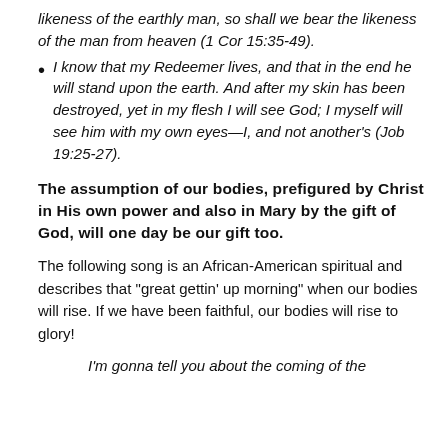likeness of the earthly man, so shall we bear the likeness of the man from heaven (1 Cor 15:35-49).
I know that my Redeemer lives, and that in the end he will stand upon the earth. And after my skin has been destroyed, yet in my flesh I will see God; I myself will see him with my own eyes—I, and not another's (Job 19:25-27).
The assumption of our bodies, prefigured by Christ in His own power and also in Mary by the gift of God, will one day be our gift too.
The following song is an African-American spiritual and describes that "great gettin' up morning" when our bodies will rise. If we have been faithful, our bodies will rise to glory!
I'm gonna tell you about the coming of the